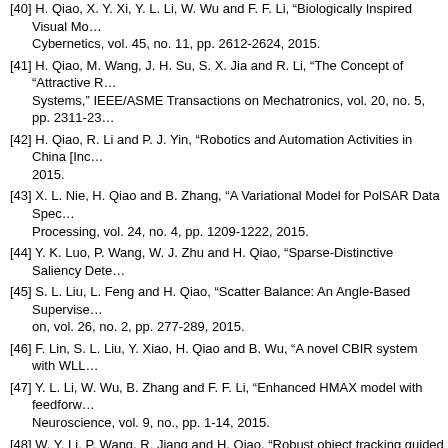[40] H. Qiao, X. Y. Xi, Y. L. Li, W. Wu and F. F. Li, “Biologically Inspired Visual Mo… Cybernetics, vol. 45, no. 11, pp. 2612-2624, 2015.
[41] H. Qiao, M. Wang, J. H. Su, S. X. Jia and R. Li, “The Concept of “Attractive R… Systems,” IEEE/ASME Transactions on Mechatronics, vol. 20, no. 5, pp. 2311-23…
[42] H. Qiao, R. Li and P. J. Yin, “Robotics and Automation Activities in China [Inc… 2015.
[43] X. L. Nie, H. Qiao and B. Zhang, “A Variational Model for PolSAR Data Spec… Processing, vol. 24, no. 4, pp. 1209-1222, 2015.
[44] Y. K. Luo, P. Wang, W. J. Zhu and H. Qiao, “Sparse-Distinctive Saliency Dete…
[45] S. L. Liu, L. Feng and H. Qiao, “Scatter Balance: An Angle-Based Supervise… on, vol. 26, no. 2, pp. 277-289, 2015.
[46] F. Lin, S. L. Liu, Y. Xiao, H. Qiao and B. Wu, “A novel CBIR system with WLL…
[47] Y. L. Li, W. Wu, B. Zhang and F. F. Li, “Enhanced HMAX model with feedforw… Neuroscience, vol. 9, no., pp. 1-14, 2015.
[48] W. Y. Li, P. Wang, R. Jiang and H. Qiao, “Robust object tracking guided by to… 2015.
[49] R. Li, W. Wu and H. Qiao, “The compliance of robotic hands–from functional…
[50] R. Jiang, H. Qiao and B. Zhang, “Speeding Up Graph Regularized Sparse C… 317, 2015.
[51] W. S. Feng, H. Lei and H. Qiao, “Synthetic aperture radar image despeckling… 248, 2015.
[52] Y. Tang, Z. D. Wang, H. J. Gao, H. Qiao and K. Jurgen, “On Controllability of…